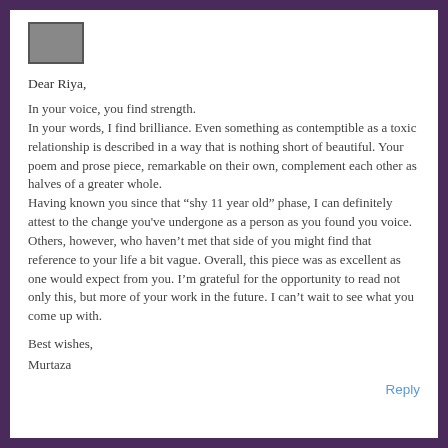[Figure (photo): Small avatar/profile image placeholder at top left]
Dear Riya,
In your voice, you find strength.
In your words, I find brilliance. Even something as contemptible as a toxic relationship is described in a way that is nothing short of beautiful. Your poem and prose piece, remarkable on their own, complement each other as halves of a greater whole.
Having known you since that “shy 11 year old” phase, I can definitely attest to the change you've undergone as a person as you found you voice. Others, however, who haven’t met that side of you might find that reference to your life a bit vague. Overall, this piece was as excellent as one would expect from you. I’m grateful for the opportunity to read not only this, but more of your work in the future. I can’t wait to see what you come up with.
Best wishes,
Murtaza
Reply